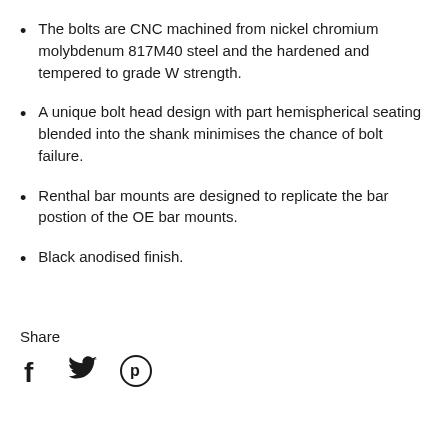The bolts are CNC machined from nickel chromium molybdenum 817M40 steel and the hardened and tempered to grade W strength.
A unique bolt head design with part hemispherical seating blended into the shank minimises the chance of bolt failure.
Renthal bar mounts are designed to replicate the bar postion of the OE bar mounts.
Black anodised finish.
Share
[Figure (infographic): Social media share icons: Facebook (f), Twitter (bird), Pinterest (P circle)]